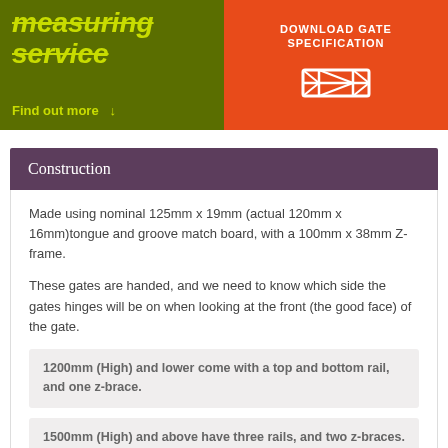[Figure (infographic): Two-panel banner: left green panel with italic bold text 'measuring service' and 'Find out more' link; right orange panel with 'DOWNLOAD GATE SPECIFICATION' text and gate icon]
Construction
Made using nominal 125mm x 19mm (actual 120mm x 16mm)tongue and groove match board, with a 100mm x 38mm Z-frame.
These gates are handed, and we need to know which side the gates hinges will be on when looking at the front (the good face) of the gate.
1200mm (High) and lower come with a top and bottom rail, and one z-brace.
1500mm (High) and above have three rails, and two z-braces.